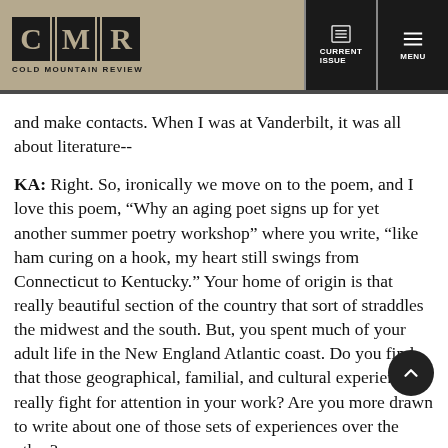CMR | Cold Mountain Review | CURRENT ISSUE | MENU
and make contacts. When I was at Vanderbilt, it was all about literature--
KA: Right. So, ironically we move on to the poem, and I love this poem, “Why an aging poet signs up for yet another summer poetry workshop” where you write, “like ham curing on a hook, my heart still swings from Connecticut to Kentucky.” Your home of origin is that really beautiful section of the country that sort of straddles the midwest and the south. But, you spent much of your adult life in the New England Atlantic coast. Do you find that those geographical, familial, and cultural experiences really fight for attention in your work? Are you more drawn to write about one of those sets of experiences over the other?
VS: Those experiences grate against each other. In particular,